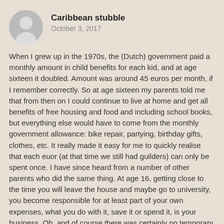Caribbean stubble
October 3, 2017
When I grew up in the 1970s, the (Dutch) government paid a monthly amount in child benefits for each kid, and at age sixteen it doubled. Amount was around 45 euros per month, if I remember correctly. So at age sixteen my parents told me that from then on I could continue to live at home and get all benefits of free housing and food and including school books, but everything else would have to come from the monthly government allowance: bike repair, partying, birthday gifts, clothes, etc. It really made it easy for me to quickly realise that each euor (at that time we still had guilders) can only be spent once. I have since heard from a number of other parents who did the same thing. At age 16, getting close to the time you will leave the house and maybe go to university, you become responsible for at least part of your own expenses, what you do with it, save it or spend it, is your business. Oh, and of course there was certainly no temporary loan option or early payment of the allowance.